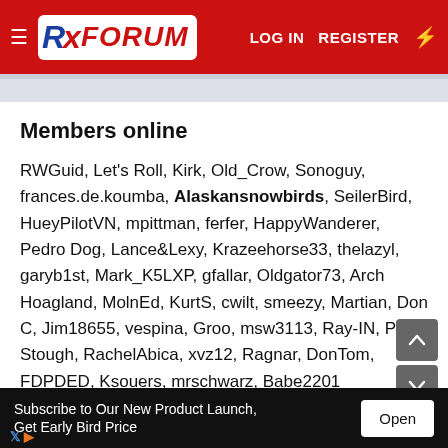RX FORUM — LOG IN  REGISTER
Members online
RWGuid, Let's Roll, Kirk, Old_Crow, Sonoguy, frances.de.koumba, Alaskansnowbirds, SeilerBird, HueyPilotVN, mpittman, ferfer, HappyWanderer, Pedro Dog, Lance&Lexy, Krazeehorse33, thelazyl, garyb1st, Mark_K5LXP, gfallar, Oldgator73, Arch Hoagland, MolnEd, KurtS, cwilt, smeezy, Martian, Don C, Jim18655, vespina, Groo, msw3113, Ray-IN, PJ Stough, RachelAbica, xvz12, Ragnar, DonTom, FDPDED, Ksouers, mrschwarz, Babe2201
Total: 1,454 (members: 44, guests: 1,410)
Foru
Subscribe to Our New Product Launch, Get Early Bird Price